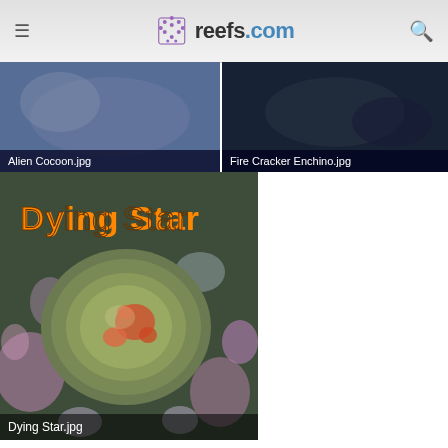reefs.com
[Figure (photo): Gallery thumbnail: Alien Cocoon.jpg - blurred underwater/reef photo]
[Figure (photo): Gallery thumbnail: Fire Cracker Enchino.jpg - dark underwater photo]
[Figure (photo): Dying Star.jpg - close-up image of a coral or sea creature labeled 'Dying Star' with orange text overlay]
Last edited: Aug 1, 2009
cdamiano
Advanced Reefer
Jul 31, 2009
#2